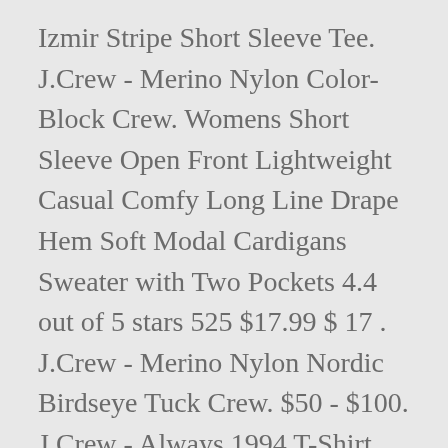Izmir Stripe Short Sleeve Tee. J.Crew - Merino Nylon Color-Block Crew. Womens Short Sleeve Open Front Lightweight Casual Comfy Long Line Drape Hem Soft Modal Cardigans Sweater with Two Pockets 4.4 out of 5 stars 525 $17.99 $ 17 . J.Crew - Merino Nylon Nordic Birdseye Tuck Crew. $50 - $100. J.Crew - Always 1994 T-Shirt. These fine sweaters do double duty as both comfortable casual wear, and a more dressy look when worn with slacks and a sport shirt. Color Heather Dark Walnut. Color Hemp Green. $45.00. J.Crew - Everyday Cashmere V-Neck Sweater. J.Crew - Always 1994 T-Shirt. J.Crew - Rugged Merino Wool Half-Zip Sweater. Color Stripe Indigo Sea. J.Crew - Rugged Merino Wool Half-Zip